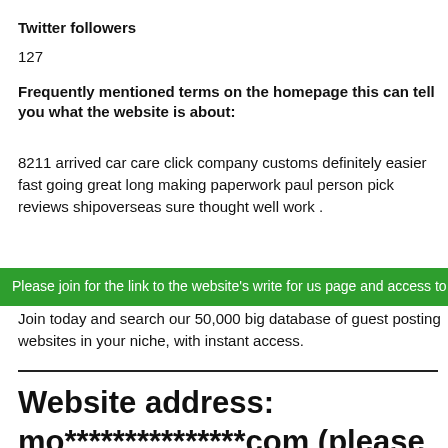Twitter followers
127
Frequently mentioned terms on the homepage this can tell you what the website is about:
8211 arrived car care click company customs definitely easier fast going great long making paperwork paul person pick reviews shipoverseas sure thought well work .
Please join for the link to the website's write for us page and access to
Join today and search our 50,000 big database of guest posting websites in your niche, with instant access.
Website address: mo***************com (please join to view domain)